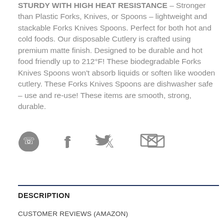STURDY WITH HIGH HEAT RESISTANCE – Stronger than Plastic Forks, Knives, or Spoons – lightweight and stackable Forks Knives Spoons. Perfect for both hot and cold foods. Our disposable Cutlery is crafted using premium matte finish. Designed to be durable and hot food friendly up to 212°F! These biodegradable Forks Knives Spoons won't absorb liquids or soften like wooden cutlery. These Forks Knives Spoons are dishwasher safe – use and re-use! These items are smooth, strong, durable.
[Figure (infographic): Social sharing icons: WhatsApp (circle icon), Facebook (f icon), Twitter (bird icon), Email (envelope icon)]
DESCRIPTION
CUSTOMER REVIEWS (AMAZON)